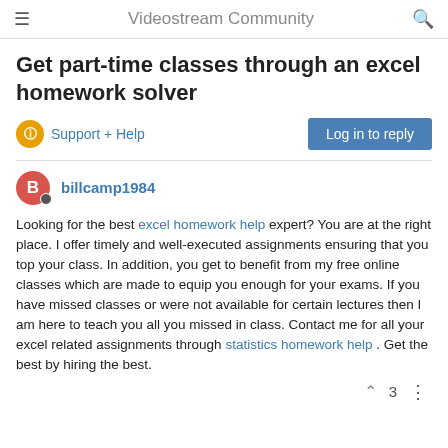Videostream Community
Get part-time classes through an excel homework solver
Support + Help
Log in to reply
billcamp1984
Looking for the best excel homework help expert? You are at the right place. I offer timely and well-executed assignments ensuring that you top your class. In addition, you get to benefit from my free online classes which are made to equip you enough for your exams. If you have missed classes or were not available for certain lectures then I am here to teach you all you missed in class. Contact me for all your excel related assignments through statistics homework help . Get the best by hiring the best.